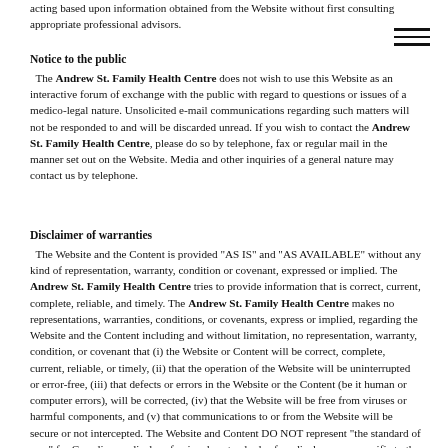acting based upon information obtained from the Website without first consulting appropriate professional advisors.
Notice to the public
The Andrew St. Family Health Centre does not wish to use this Website as an interactive forum of exchange with the public with regard to questions or issues of a medico-legal nature. Unsolicited e-mail communications regarding such matters will not be responded to and will be discarded unread. If you wish to contact the Andrew St. Family Health Centre, please do so by telephone, fax or regular mail in the manner set out on the Website. Media and other inquiries of a general nature may contact us by telephone.
Disclaimer of warranties
The Website and the Content is provided "AS IS" and "AS AVAILABLE" without any kind of representation, warranty, condition or covenant, expressed or implied. The Andrew St. Family Health Centre tries to provide information that is correct, current, complete, reliable, and timely. The Andrew St. Family Health Centre makes no representations, warranties, conditions, or covenants, express or implied, regarding the Website and the Content including and without limitation, no representation, warranty, condition, or covenant that (i) the Website or Content will be correct, complete, current, reliable, or timely, (ii) that the operation of the Website will be uninterrupted or error-free, (iii) that defects or errors in the Website or the Content (be it human or computer errors), will be corrected, (iv) that the Website will be free from viruses or harmful components, and (v) that communications to or from the Website will be secure or not intercepted. The Website and Content DO NOT represent "the standard of care" for Canadian medical professionals - standards of medical care are specific to the circumstances of each individual case, and are subject to change as scientific knowledge and technology advance and as practice patterns evolve. To the extent permitted by law, the Andrew St. Family Health Centre disclaims all representations, warranties, conditions, and covenants, express or implied, or arising by course of